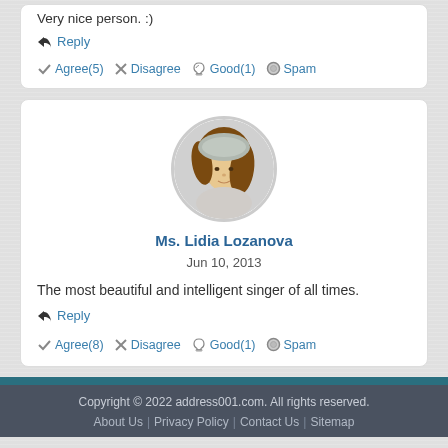Very nice person. :)
Reply
Agree(5)  Disagree  Good(1)  Spam
[Figure (illustration): Female avatar profile picture in a circle]
Ms. Lidia Lozanova
Jun 10, 2013
The most beautiful and intelligent singer of all times.
Reply
Agree(8)  Disagree  Good(1)  Spam
Copyright © 2022 address001.com. All rights reserved. About Us | Privacy Policy | Contact Us | Sitemap